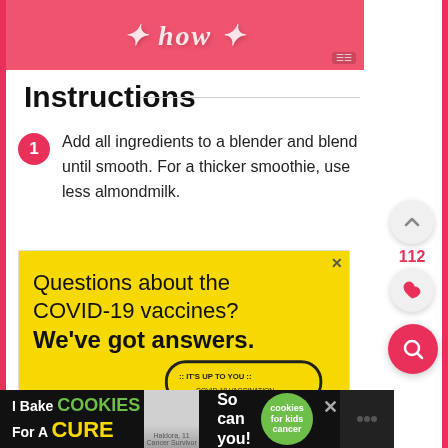[Figure (photo): Pink banner image with stylized white italic text at top of recipe page]
Instructions
Add all ingredients to a blender and blend until smooth. For a thicker smoothie, use less almondmilk.
[Figure (other): Advertisement: Questions about the COVID-19 vaccines? We've got answers. It's Up To You COVID-19 Vaccination. Yellow background.]
[Figure (other): Bottom banner advertisement: I Bake Cookies For A Cure - cookies for kids cancer]